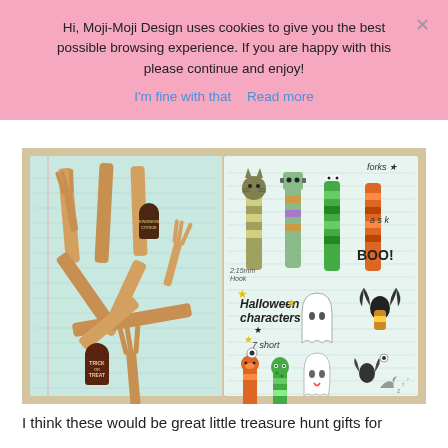Hi, Moji-Moji Design uses cookies to give you the best possible browsing experience. If you are happy with this please continue and enjoy!
I'm fine with that   Read more
[Figure (photo): Photo of wooden craft stick forks and painted Halloween character craft sticks on a blue lined notebook, alongside a sketchbook page with Halloween character designs including a ghost, cat, monster, and bat characters labeled 'Halloween characters', 'forks', and 'Trick or Treat' stamps.]
I think these would be great little treasure hunt gifts for